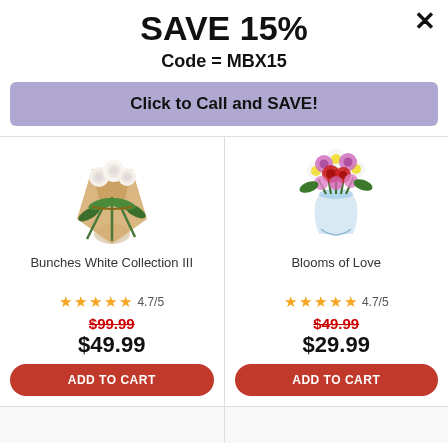SAVE 15%
Code = MBX15
Click to Call and SAVE!
[Figure (photo): Wrapped flower bouquet with white roses and greenery - Bunches White Collection III]
Bunches White Collection III
4.7/5
$99.99 (strikethrough) $49.99
ADD TO CART
[Figure (photo): Vase with pink, purple, red flowers and daisies - Blooms of Love]
Blooms of Love
4.7/5
$49.99 (strikethrough) $29.99
ADD TO CART